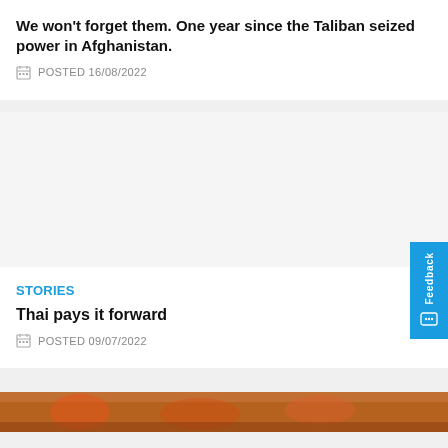We won't forget them. One year since the Taliban seized power in Afghanistan.
POSTED 16/08/2022
[Figure (photo): Empty image placeholder area for second card]
STORIES
Thai pays it forward
POSTED 09/07/2022
[Figure (photo): Partial photo at bottom of page showing food items]